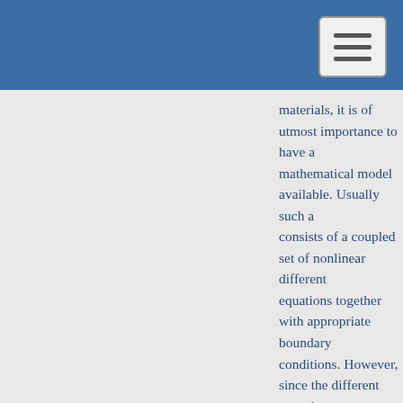materials, it is of utmost importance to have a mathematical model available. Usually such a consists of a coupled set of nonlinear different equations together with appropriate boundary conditions. However, since the different materi classes vary significantly with respect to their p and mechanical behavior, the parameters whi appear in these equations are unknown and th have to be determined before the equations ca used for further investigations or simulations. I very step which is addressed in this article whe consider elastic as well as viscoelastic materia behavior. The idea is to compute the paramete solutions of a minimization problem for Tikhon functionals. Tikhonov regularization is a well-established solution technique for tackling inve problems. On the one hand, it assures a comp that is stable with respect to noisy input data, a the other hand, it involves desired a priori infor on the solution. In this article we develop prob